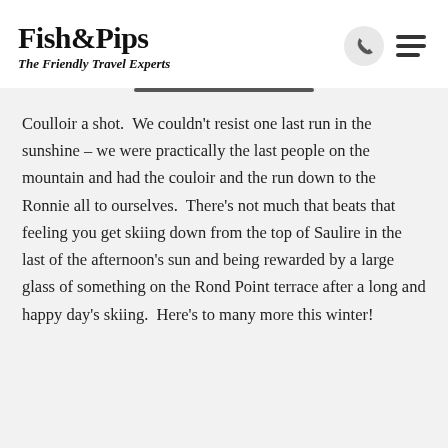Fish&Pips The Friendly Travel Experts
Coulloir a shot.  We couldn't resist one last run in the sunshine – we were practically the last people on the mountain and had the couloir and the run down to the Ronnie all to ourselves.  There's not much that beats that feeling you get skiing down from the top of Saulire in the last of the afternoon's sun and being rewarded by a large glass of something on the Rond Point terrace after a long and happy day's skiing.  Here's to many more this winter!